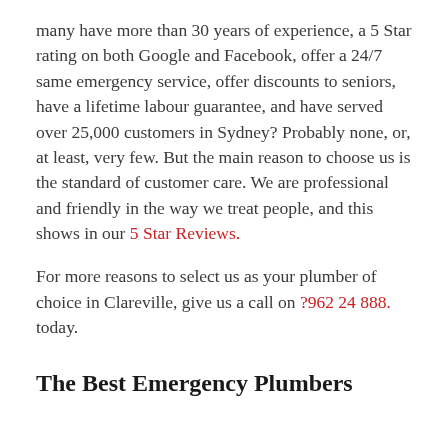many have more than 30 years of experience, a 5 Star rating on both Google and Facebook, offer a 24/7 same emergency service, offer discounts to seniors, have a lifetime labour guarantee, and have served over 25,000 customers in Sydney? Probably none, or, at least, very few. But the main reason to choose us is the standard of customer care. We are professional and friendly in the way we treat people, and this shows in our 5 Star Reviews.
For more reasons to select us as your plumber of choice in Clareville, give us a call on ?962 24 888. today.
The Best Emergency Plumbers